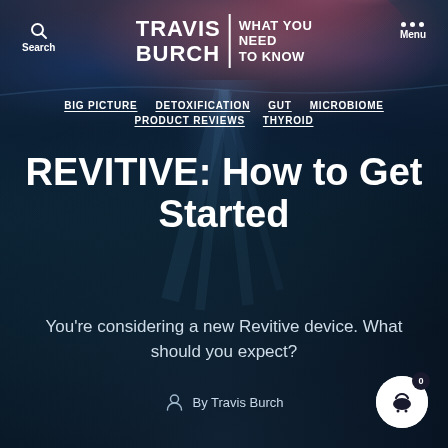[Figure (screenshot): Underwater ocean scene background with dark teal water, light rays, reddish-pink nebula-like clouds at the top. Website header of 'Travis Burch | What You Need To Know' blog.]
Search   TRAVIS BURCH | WHAT YOU NEED TO KNOW   Menu
BIG PICTURE  DETOXIFICATION  GUT  MICROBIOME  PRODUCT REVIEWS  THYROID
REVITIVE: How to Get Started
You're considering a new Revitive device. What should you expect?
By Travis Burch